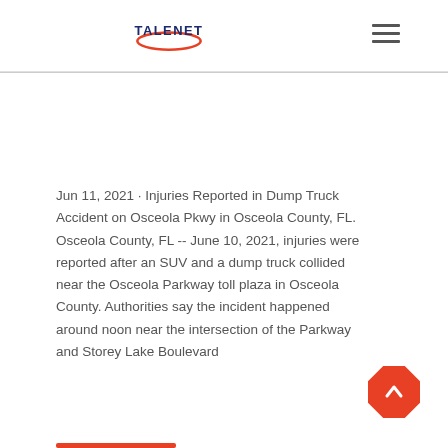TALENET
Jun 11, 2021 · Injuries Reported in Dump Truck Accident on Osceola Pkwy in Osceola County, FL. Osceola County, FL -- June 10, 2021, injuries were reported after an SUV and a dump truck collided near the Osceola Parkway toll plaza in Osceola County. Authorities say the incident happened around noon near the intersection of the Parkway and Storey Lake Boulevard